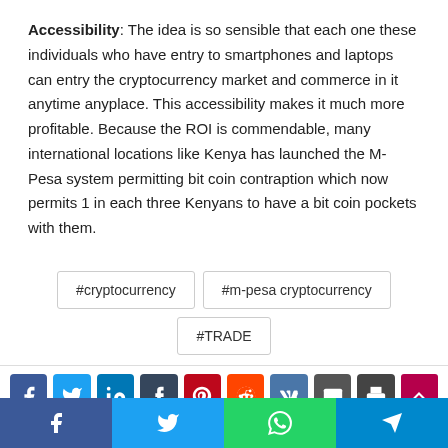Accessibility: The idea is so sensible that each one these individuals who have entry to smartphones and laptops can entry the cryptocurrency market and commerce in it anytime anyplace. This accessibility makes it much more profitable. Because the ROI is commendable, many international locations like Kenya has launched the M-Pesa system permitting bit coin contraption which now permits 1 in each three Kenyans to have a bit coin pockets with them.
#cryptocurrency
#m-pesa cryptocurrency
#TRADE
[Figure (infographic): Social sharing buttons row: Facebook (blue), Twitter (cyan), LinkedIn (blue), Tumblr (dark), Pinterest (red), Reddit (orange), VK (steel blue), Email (grey), Print (dark grey), and an up/scroll button (crimson). Bottom bar with large Facebook, Twitter, WhatsApp, Telegram buttons.]